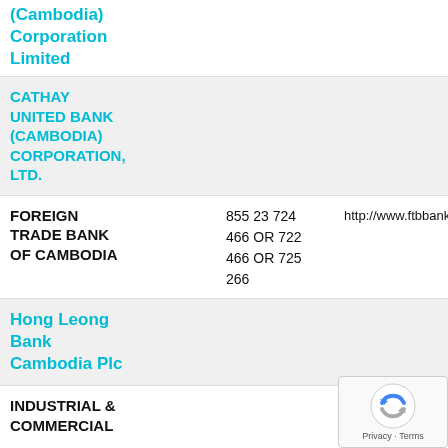(Cambodia) Corporation Limited
CATHAY UNITED BANK (CAMBODIA) CORPORATION, LTD.
| Bank Name | Phone | URL |
| --- | --- | --- |
| FOREIGN TRADE BANK OF CAMBODIA | 855 23 724 466 OR 722 466 OR 725 266 | http://www.ftbbank.cc |
Hong Leong Bank Cambodia Plc
INDUSTRIAL & COMMERCIAL